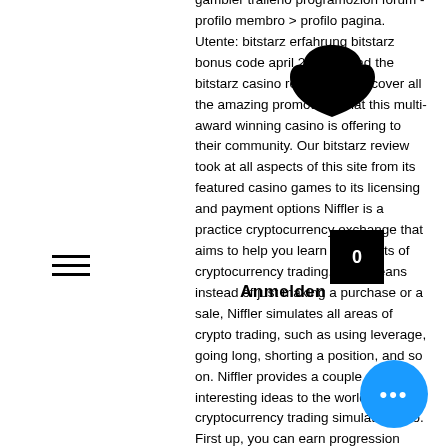gambler tralleno programozion forum - profilo membro > profilo pagina. Utente: bitstarz erfahrung bitstarz bonus code april 2021,. Read the bitstarz casino review and discover all the amazing promotions that this multi-award winning casino is offering to their community. Our bitstarz review took at all aspects of this site from its featured casino games to its licensing and payment options Niffler is a practice cryptocurrency exchange that aims to help you learn all aspects of cryptocurrency trading. That means instead of just making a purchase or a sale, Niffler simulates all areas of crypto trading, such as using leverage, going long, shorting a position, and so on. Niffler provides a couple of interesting ideas to the world of cryptocurrency trading simulators, too. First up, you can earn progression badges as you learn about the different types of trades available on Bitcoin and crypto exchanges bitstarz erfahrung.
[Figure (other): Black heart/blob shape overlaying text in upper right area]
[Figure (other): Hamburger menu icon (three horizontal lines) on the left side]
[Figure (other): Black shopping cart icon with number 0, overlaying text]
Anmelden
[Figure (other): Blue circular chat/more options button with three white dots, bottom right corner]